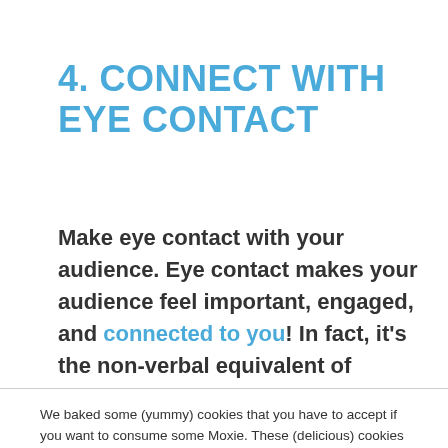4. CONNECT WITH EYE CONTACT
Make eye contact with your audience. Eye contact makes your audience feel important, engaged, and connected to you! In fact, it's the non-verbal equivalent of saying
We baked some (yummy) cookies that you have to accept if you want to consume some Moxie. These (delicious) cookies are used to improve your experience with brand-enriched content and personalized services. Please accept. You'll be happy you did! More information can be found in our Privacy Policy.
Accept